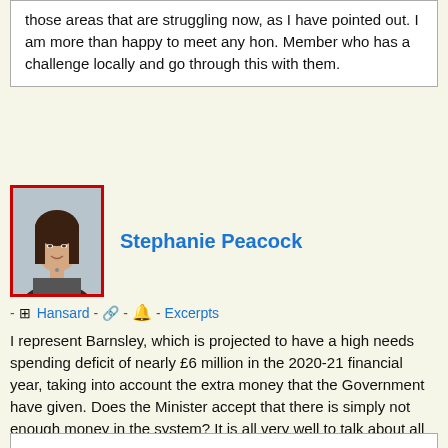those areas that are struggling now, as I have pointed out. I am more than happy to meet any hon. Member who has a challenge locally and go through this with them.
[Figure (photo): Portrait photo of Stephanie Peacock MP with red border]
Stephanie Peacock
- Hansard - - Excerpts
I represent Barnsley, which is projected to have a high needs spending deficit of nearly £6 million in the 2020-21 financial year, taking into account the extra money that the Government have given. Does the Minister accept that there is simply not enough money in the system? It is all very well to talk about all the other issues, which are important, but the money is absolutely critical.